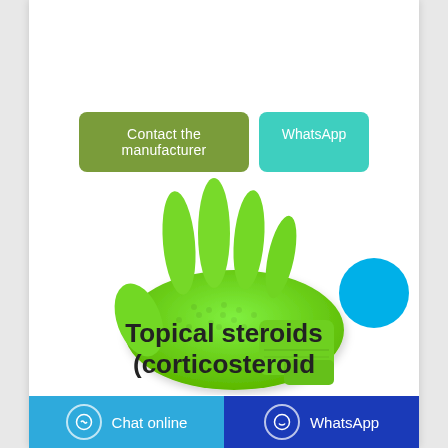[Figure (other): Two buttons: 'Contact the manufacturer' (olive/green rounded button) and 'WhatsApp' (teal/cyan rounded button)]
[Figure (photo): A bright green latex/nitrile glove with textured surface, shown palm-down on a white background]
Topical steroids (corticosteroid
Chat online | WhatsApp